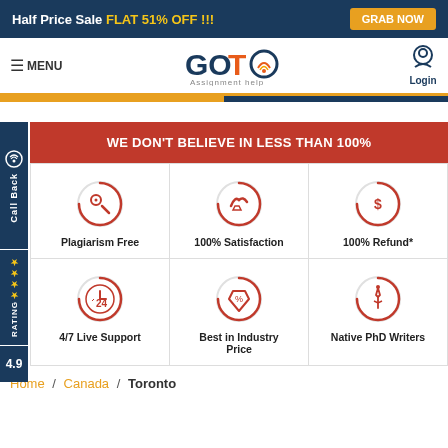Half Price Sale FLAT 51% OFF !!! GRAB NOW
[Figure (logo): GOTO Assignment help logo with navigation menu and login button]
WE DON'T BELIEVE IN LESS THAN 100%
[Figure (infographic): Six feature icons in a 2x3 grid: Plagiarism Free, 100% Satisfaction, 100% Refund*, 4/7 Live Support, Best in Industry Price, Native PhD Writers]
Home / Canada / Toronto